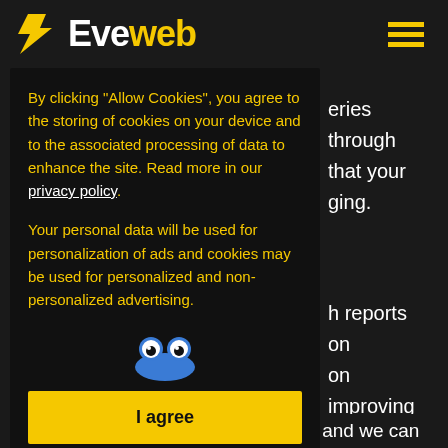Eveweb
By clicking "Allow Cookies", you agree to the storing of cookies on your device and to the associated processing of data to enhance the site. Read more in our privacy policy.
Your personal data will be used for personalization of ads and cookies may be used for personalized and non-personalized advertising.
I agree
ana any way of naving it presented, and we can